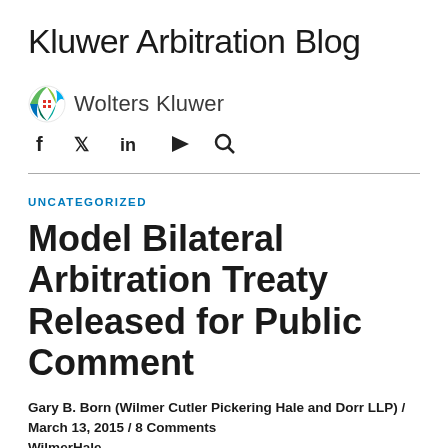Kluwer Arbitration Blog
[Figure (logo): Wolters Kluwer globe logo with social media icons (Facebook, Twitter, LinkedIn, YouTube, Search)]
UNCATEGORIZED
Model Bilateral Arbitration Treaty Released for Public Comment
Gary B. Born (Wilmer Cutler Pickering Hale and Dorr LLP) / March 13, 2015 / 8 Comments WilmerHale